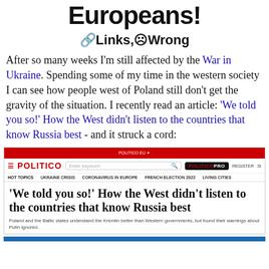Europeans!
🔗Links,☹Wrong
After so many weeks I'm still affected by the War in Ukraine. Spending some of my time in the western society I can see how people west of Poland still don't get the gravity of the situation. I recently read an article: 'We told you so!' How the West didn't listen to the countries that know Russia best - and it struck a cord:
[Figure (screenshot): Screenshot of a Politico article titled ''We told you so!' How the West didn't listen to the countries that know Russia best' with subtitle 'Poland and the Baltic states understand the Kremlin better than Western governments, but found their warnings about Putin ignored.']